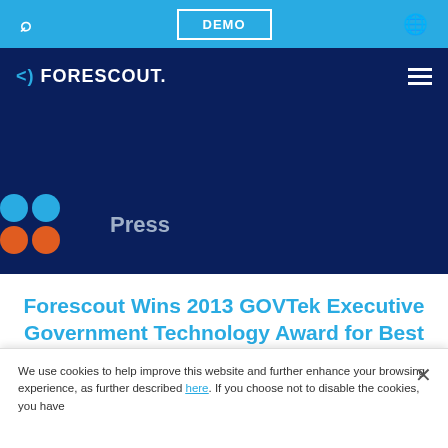DEMO
[Figure (logo): Forescout logo in white on dark navy background, with hamburger menu icon on the right]
[Figure (illustration): Dark navy hero banner with colored dot grid (blue and orange dots) on left and 'Press' text in grey-blue]
Forescout Wins 2013 GOVTek Executive Government Technology Award for Best Mobility Solution
We use cookies to help improve this website and further enhance your browsing experience, as further described here. If you choose not to disable the cookies, you have